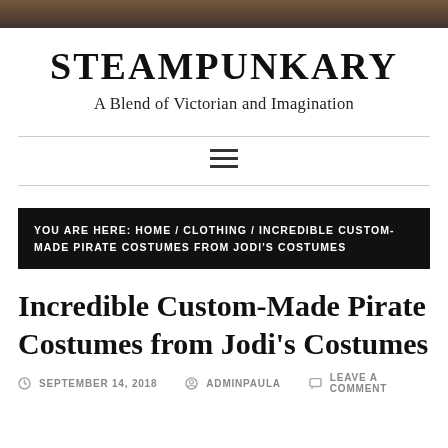[Figure (photo): Dark brown decorative banner image at top of page]
STEAMPUNKARY
A Blend of Victorian and Imagination
[Figure (other): Hamburger menu icon (three horizontal lines)]
YOU ARE HERE: HOME / CLOTHING / INCREDIBLE CUSTOM-MADE PIRATE COSTUMES FROM JODI'S COSTUMES
Incredible Custom-Made Pirate Costumes from Jodi's Costumes
SEPTEMBER 14, 2018   ADMINPAULA   LEAVE A COMMENT